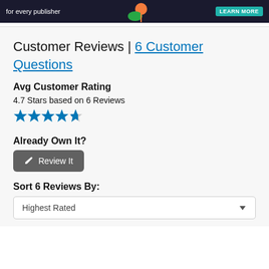[Figure (illustration): Ad banner with dark background showing 'for every publisher' text, illustrated figure, and a teal 'LEARN MORE' button]
Customer Reviews | 6 Customer Questions
Avg Customer Rating
4.7 Stars based on 6 Reviews
[Figure (other): 4.7 out of 5 stars rating shown as 4 full blue stars and 1 half blue star]
Already Own It?
Review It
Sort 6 Reviews By:
Highest Rated